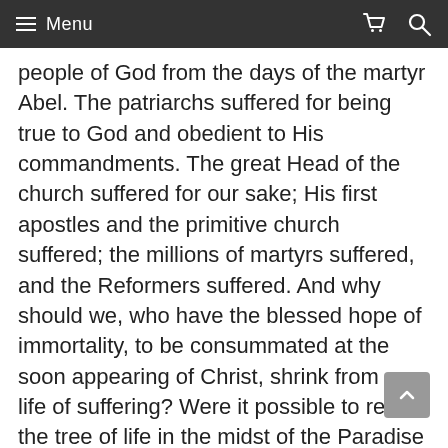Menu
people of God from the days of the martyr Abel. The patriarchs suffered for being true to God and obedient to His commandments. The great Head of the church suffered for our sake; His first apostles and the primitive church suffered; the millions of martyrs suffered, and the Reformers suffered. And why should we, who have the blessed hope of immortality, to be consummated at the soon appearing of Christ, shrink from a life of suffering? Were it possible to reach the tree of life in the midst of the Paradise of God without suffering, we would not enjoy so rich a reward for which we had not suffered. We would shrink back from the glory; shame would seize us in the presence of those who had fought the good fight, had run the race with patience, and had laid hold on eternal life. But none will